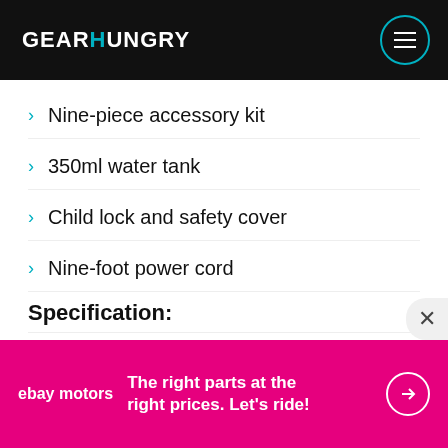GEARHUNGRY
Nine-piece accessory kit
350ml water tank
Child lock and safety cover
Nine-foot power cord
Specification:
|  |  |
| --- | --- |
| Brand | Fuothzon |
| Weight | 3.94 Pounds |
[Figure (infographic): eBay Motors advertisement banner: 'The right parts at the right prices. Let's ride!' with arrow icon on magenta background]